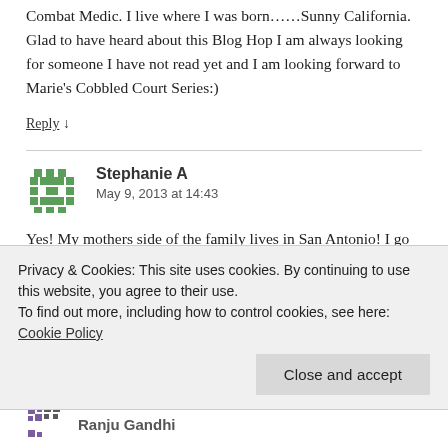Combat Medic. I live where I was born……Sunny California. Glad to have heard about this Blog Hop I am always looking for someone I have not read yet and I am looking forward to Marie's Cobbled Court Series:)
Reply ↓
Stephanie A
May 9, 2013 at 14:43
Yes! My mothers side of the family lives in San Antonio! I go
Privacy & Cookies: This site uses cookies. By continuing to use this website, you agree to their use.
To find out more, including how to control cookies, see here: Cookie Policy
Close and accept
Ranju Gandhi